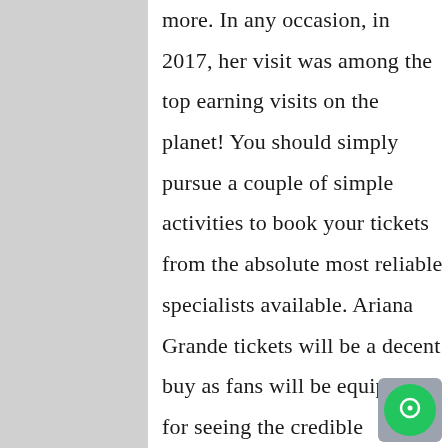more. In any occasion, in 2017, her visit was among the top earning visits on the planet! You should simply pursue a couple of simple activities to book your tickets from the absolute most reliable specialists available. Ariana Grande tickets will be a decent buy as fans will be equipped for seeing the credible development of the pop-star life. Despite what you're